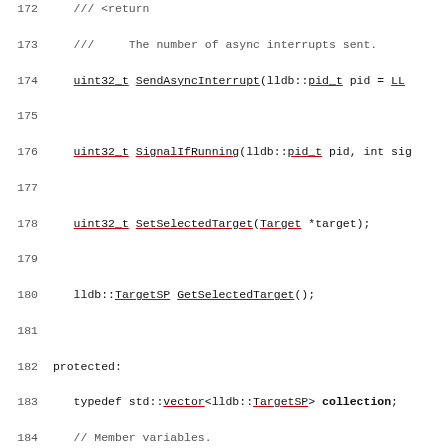Source code listing showing C++ class member declarations, lines 172-202, including methods SendAsyncInterrupt, SignalIfRunning, SetSelectedTarget, GetSelectedTarget, protected section with typedef and member variables, and private section with GetDummyTarget, CreateDummyTarget, CreateTargetInternal methods.